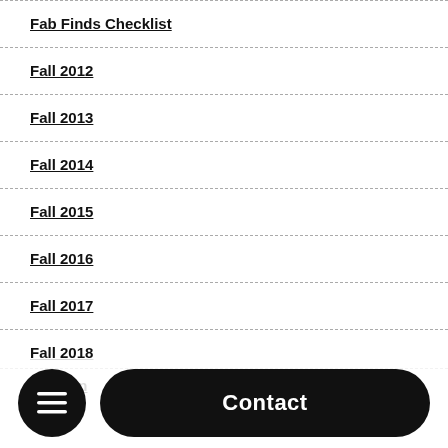Fab Finds Checklist
Fall 2012
Fall 2013
Fall 2014
Fall 2015
Fall 2016
Fall 2017
Fall 2018
Fashion